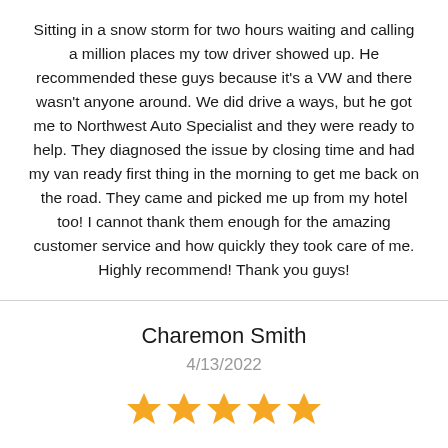Sitting in a snow storm for two hours waiting and calling a million places my tow driver showed up. He recommended these guys because it's a VW and there wasn't anyone around. We did drive a ways, but he got me to Northwest Auto Specialist and they were ready to help. They diagnosed the issue by closing time and had my van ready first thing in the morning to get me back on the road. They came and picked me up from my hotel too! I cannot thank them enough for the amazing customer service and how quickly they took care of me. Highly recommend! Thank you guys!
Charemon Smith
4/13/2022
[Figure (other): Five gold/yellow star rating icons indicating a 5-star review]